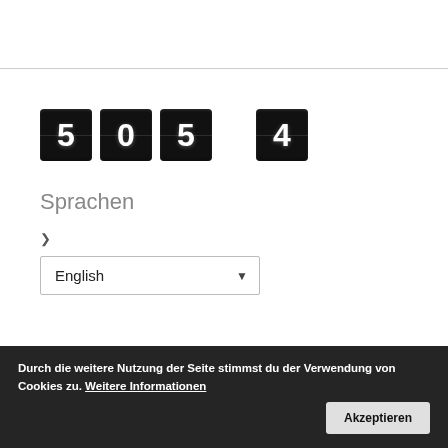[Figure (screenshot): Flip counter / odometer digits showing '505' and '4' in white text on black tiles]
Sprachen
>
English (dropdown select)
Durch die weitere Nutzung der Seite stimmst du der Verwendung von Cookies zu. Weitere Informationen  Akzeptieren